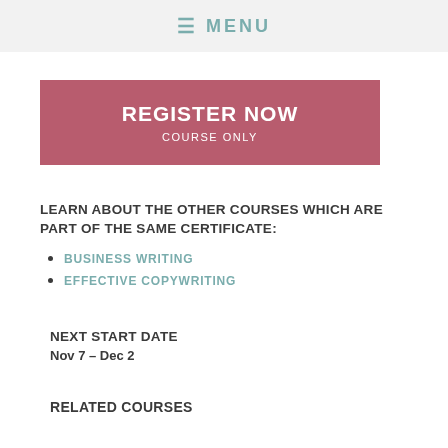≡ MENU
REGISTER NOW
COURSE ONLY
LEARN ABOUT THE OTHER COURSES WHICH ARE PART OF THE SAME CERTIFICATE:
BUSINESS WRITING
EFFECTIVE COPYWRITING
NEXT START DATE
Nov 7 – Dec 2
RELATED COURSES